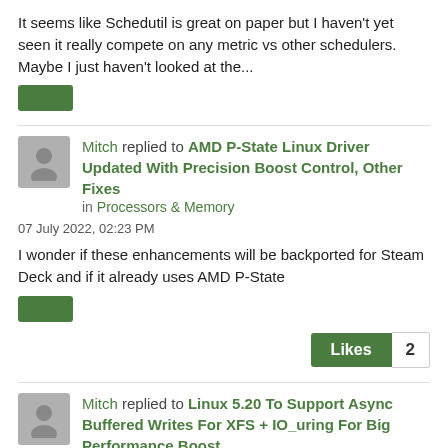It seems like Schedutil is great on paper but I haven't yet seen it really compete on any metric vs other schedulers. Maybe I just haven't looked at the...
[green button placeholder]
Mitch replied to AMD P-State Linux Driver Updated With Precision Boost Control, Other Fixes in Processors & Memory
07 July 2022, 02:23 PM
I wonder if these enhancements will be backported for Steam Deck and if it already uses AMD P-State
[green button placeholder]
Likes 2
Mitch replied to Linux 5.20 To Support Async Buffered Writes For XFS + IO_uring For Big Performance Boost in General Linux & Open-Source
22 June 2022, 09:51 PM